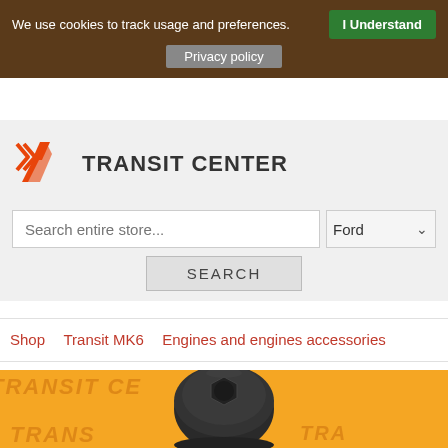We use cookies to track usage and preferences.  I Understand
Privacy policy
[Figure (logo): Transit Center TC logo in orange, angular geometric style]
TRANSIT CENTER
Search entire store...
Ford
SEARCH
Shop   Transit MK6   Engines and engines accessories
[Figure (photo): Black oil filter cap/housing on orange background with TRANSIT CENTER watermark text]